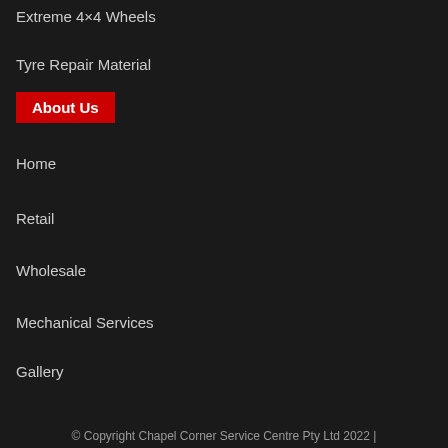Extreme 4×4 Wheels
Tyre Repair Material
About Us
Home
Retail
Wholesale
Mechanical Services
Gallery
Blogs
Contact Us
© Copyright Chapel Corner Service Centre Pty Ltd 2022 |